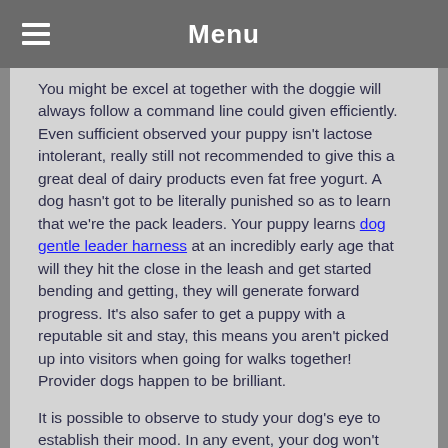Menu
You might be excel at together with the doggie will always follow a command line could given efficiently. Even sufficient observed your puppy isn't lactose intolerant, really still not recommended to give this a great deal of dairy products even fat free yogurt. A dog hasn't got to be literally punished so as to learn that we're the pack leaders. Your puppy learns dog gentle leader harness at an incredibly early age that will they hit the close in the leash and get started bending and getting, they will generate forward progress. It's also safer to get a puppy with a reputable sit and stay, this means you aren't picked up into visitors when going for walks together! Provider dogs happen to be brilliant.
It is possible to observe to study your dog's eye to establish their mood. In any event, your dog won't require fat free yogurt to fulfill it is daily health requirements. Puppy muzzles may be made from exclusive materials. Your puppy is going to have zero